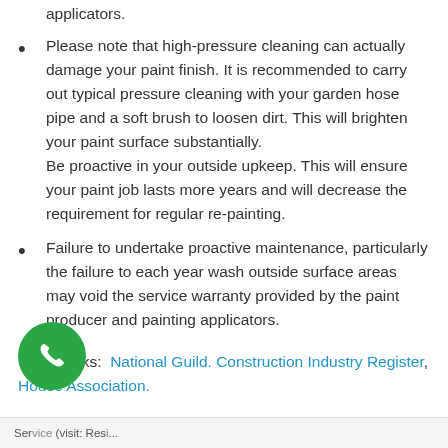applicators.
Please note that high-pressure cleaning can actually damage your paint finish. It is recommended to carry out typical pressure cleaning with your garden hose pipe and a soft brush to loosen dirt. This will brighten your paint surface substantially.
Be proactive in your outside upkeep. This will ensure your paint job lasts more years and will decrease the requirement for regular re-painting.
Failure to undertake proactive maintenance, particularly the failure to each year wash outside surface areas may void the service warranty provided by the paint producer and painting applicators.
Useful links:  National Guild. Construction Industry Register, House Association.